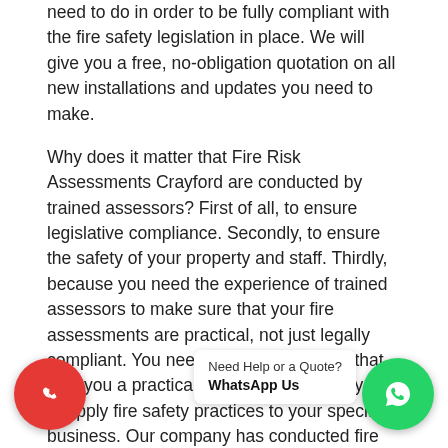need to do in order to be fully compliant with the fire safety legislation in place. We will give you a free, no-obligation quotation on all new installations and updates you need to make.
Why does it matter that Fire Risk Assessments Crayford are conducted by trained assessors? First of all, to ensure legislative compliance. Secondly, to ensure the safety of your property and staff. Thirdly, because you need the experience of trained assessors to make sure that your fire assessments are practical, not just legally compliant. You need fire risk assessors that give you a practical solution that allows you to apply fire safety practices to your specific business. Our company has conducted fire risk assessments for a full range of premises, including but not limited to offices, schools, new buildings, flats, or sleeping accommodations. Fire Risk Assessments Crayford can do more than just advise you on the remedial actions required to
[Figure (other): WhatsApp floating chat button with bubble saying 'Need Help or a Quote? WhatsApp Us']
[Figure (other): Red phone floating call button]